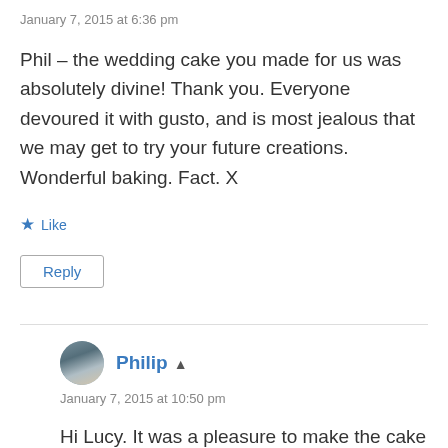January 7, 2015 at 6:36 pm
Phil – the wedding cake you made for us was absolutely divine! Thank you. Everyone devoured it with gusto, and is most jealous that we may get to try your future creations. Wonderful baking. Fact. X
★ Like
Reply
Philip
January 7, 2015 at 10:50 pm
Hi Lucy. It was a pleasure to make the cake for you both. So glad it went down well xx